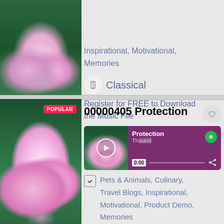[Figure (photo): Pink lotus flower close-up on dark green background, partially visible at top of page]
Inspirational, Motivational, Memories
Classical
Register for FREE to Download the Music File
[Figure (photo): Pink lotus flower with coin/globe, labeled POPULAR badge, second card]
00000405 Protection
[Figure (screenshot): Music player widget showing Protection track, 0:00 timestamp, Spotify icon, purple background with lotus thumbnail]
Pets & Animals, Culinary, Travel Blogs, Inspirational, Motivational, Product Demo, Memories